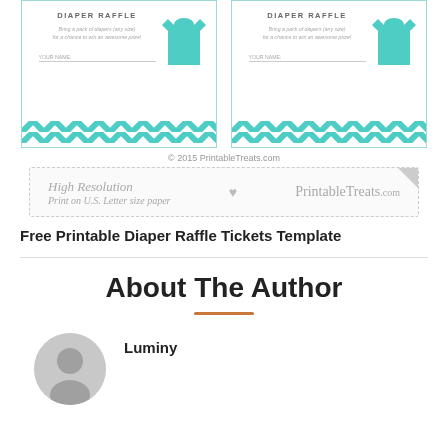[Figure (illustration): Two diaper raffle ticket templates side by side with teal chevron pattern at the bottom, teal onesie graphic on the right of each ticket, text reading DIAPER RAFFLE, and fields for YOUR NAME. Below the tickets is a copyright line '© 2015 PrintableTreats.com' and a watermark bar reading 'High Resolution / Print on U.S. Letter size paper ♥ PrintableTreats.com']
Free Printable Diaper Raffle Tickets Template
About The Author
Luminy